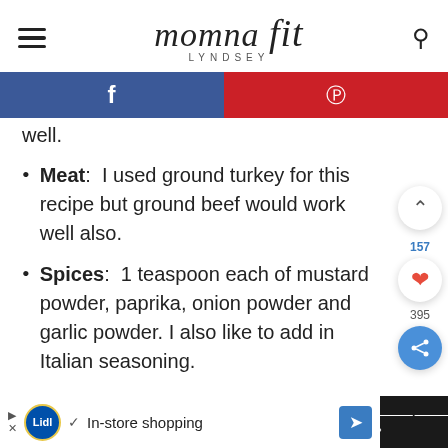momna fit LYNDSEY
[Figure (other): Social sharing bar with Facebook (blue) and Pinterest (red) buttons]
well.
Meat: I used ground turkey for this recipe but ground beef would work well also.
Spices: 1 teaspoon each of mustard powder, paprika, onion powder and garlic powder. I also like to add in Italian seasoning.
[Figure (screenshot): Floating UI buttons: up arrow, heart with 157 count, share button with 395 count]
[Figure (screenshot): Advertisement bar at bottom: Lidl In-store shopping ad]